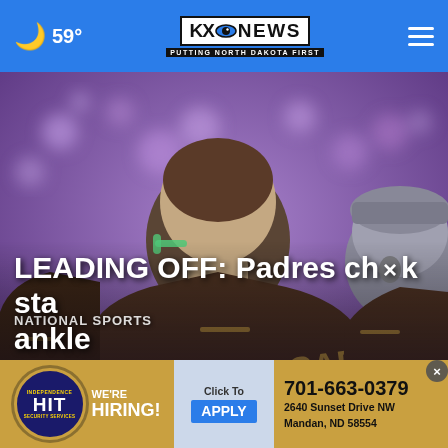59° KXO NEWS PUTTING NORTH DAKOTA FIRST
[Figure (photo): Close-up photo of two people in brown sports uniforms (one with 'CADO' visible on jersey) with a blurred purple background, likely inside a sports arena]
NATIONAL SPORTS
LEADING OFF: Padres ch×k sta... ankle
[Figure (other): Advertisement banner: HIT Security badge logo, 'WE'RE HIRING!' text, 'Click To APPLY' button, phone number 701-663-0379, address 2640 Sunset Drive NW, Mandan, ND 58554]